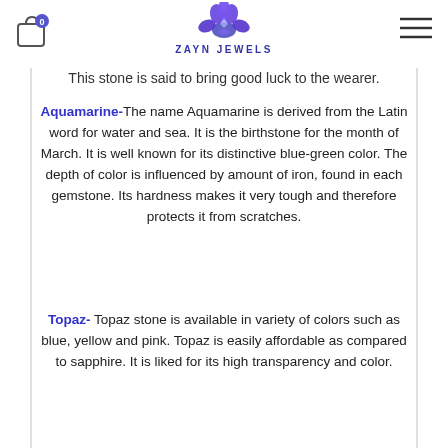Zayn Jewels — logo header with cart and hamburger menu
a transparent... variety of quartz and... appreciated for its... color and transparency.
This stone is said to bring good luck to the wearer.
Aquamarine- The name Aquamarine is derived from the Latin word for water and sea. It is the birthstone for the month of March. It is well known for its distinctive blue-green color. The depth of color is influenced by amount of iron, found in each gemstone. Its hardness makes it very tough and therefore protects it from scratches.
Topaz- Topaz stone is available in variety of colors such as blue, yellow and pink. Topaz is easily affordable as compared to sapphire. It is liked for its high transparency and color.